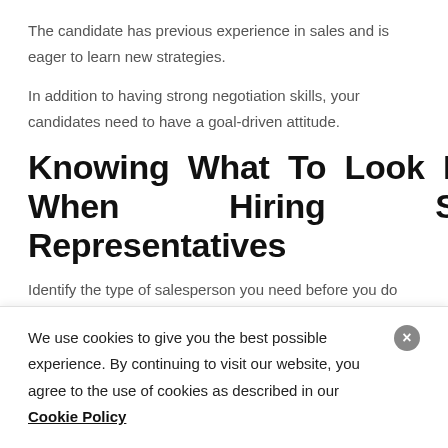The candidate has previous experience in sales and is eager to learn new strategies.
In addition to having strong negotiation skills, your candidates need to have a goal-driven attitude.
Knowing What To Look For When Hiring Sales Representatives
Identify the type of salesperson you need before you do anything else.
We use cookies to give you the best possible experience. By continuing to visit our website, you agree to the use of cookies as described in our Cookie Policy